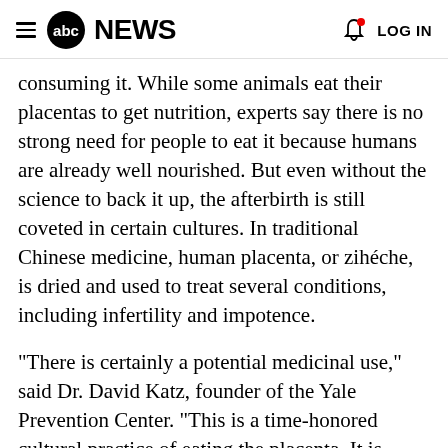abc NEWS  LOG IN
consuming it. While some animals eat their placentas to get nutrition, experts say there is no strong need for people to eat it because humans are already well nourished. But even without the science to back it up, the afterbirth is still coveted in certain cultures. In traditional Chinese medicine, human placenta, or zihéche, is dried and used to treat several conditions, including infertility and impotence.
"There is certainly a potential medicinal use," said Dr. David Katz, founder of the Yale Prevention Center. "This is a time-honored cultural practice of eating the placenta. It is